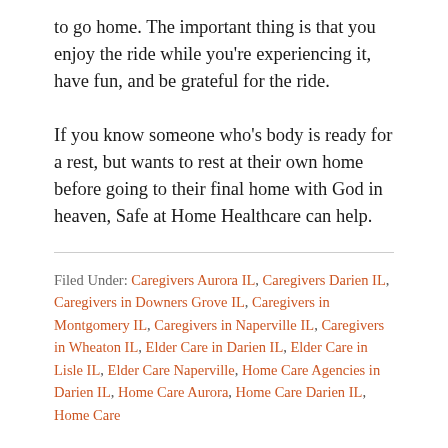to go home. The important thing is that you enjoy the ride while you're experiencing it, have fun, and be grateful for the ride.
If you know someone who's body is ready for a rest, but wants to rest at their own home before going to their final home with God in heaven, Safe at Home Healthcare can help.
Filed Under: Caregivers Aurora IL, Caregivers Darien IL, Caregivers in Downers Grove IL, Caregivers in Montgomery IL, Caregivers in Naperville IL, Caregivers in Wheaton IL, Elder Care in Darien IL, Elder Care in Lisle IL, Elder Care Naperville, Home Care Agencies in Darien IL, Home Care Aurora, Home Care Darien IL, Home Care